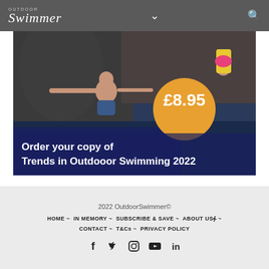Outdoor Swimmer
[Figure (photo): Advertisement banner for 'Trends in Outdoor Swimming 2022' showing two people swimming outdoors near dark rocks. Price badge shows £8.95. Text reads: Order your copy of Trends in Outdooor Swimming 2022]
2022 OutdoorSwimmer© | HOME ~ IN MEMORY ~ SUBSCRIBE & SAVE ~ ABOUT US ~ CONTACT ~ T&Cs ~ PRIVACY POLICY | Social media icons: Facebook, Twitter, Instagram, YouTube, LinkedIn